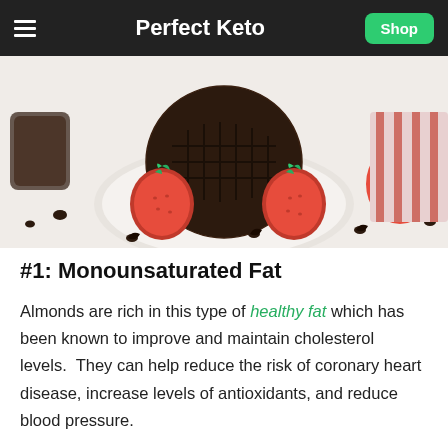Perfect Keto
[Figure (photo): A dark chocolate waffle on a white plate surrounded by fresh strawberries and chocolate chips scattered on a white surface.]
#1: Monounsaturated Fat
Almonds are rich in this type of healthy fat which has been known to improve and maintain cholesterol levels.  They can help reduce the risk of coronary heart disease, increase levels of antioxidants, and reduce blood pressure.